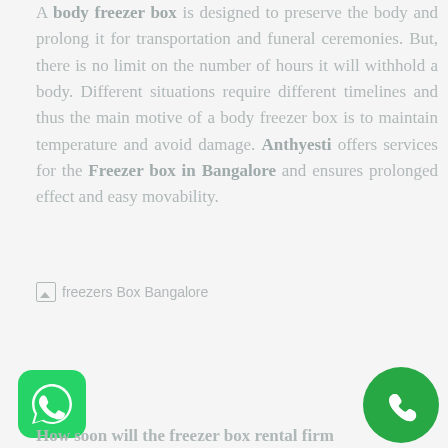A body freezer box is designed to preserve the body and prolong it for transportation and funeral ceremonies. But, there is no limit on the number of hours it will withhold a body. Different situations require different timelines and thus the main motive of a body freezer box is to maintain temperature and avoid damage. Anthyesti offers services for the Freezer box in Bangalore and ensures prolonged effect and easy movability.
[Figure (photo): Image placeholder labeled 'freezers Box Bangalore' — a broken/unloaded image icon with alt text]
[Figure (logo): WhatsApp button icon (green circle with WhatsApp logo) at bottom left]
[Figure (logo): Phone call button icon (green circle with phone handset) at bottom right]
How soon will the freezer box rental firm